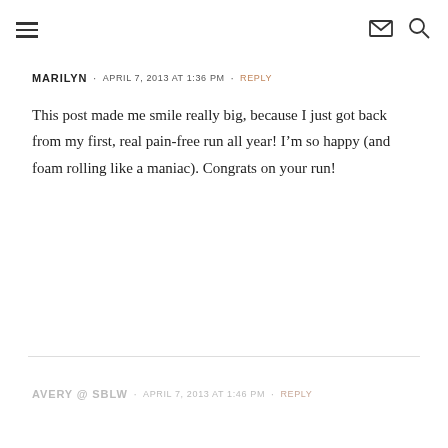navigation header with hamburger menu, envelope icon, and search icon
MARILYN · APRIL 7, 2013 AT 1:36 PM · REPLY
This post made me smile really big, because I just got back from my first, real pain-free run all year! I'm so happy (and foam rolling like a maniac). Congrats on your run!
AVERY @ SBLW · APRIL 7, 2013 AT 1:46 PM · REPLY